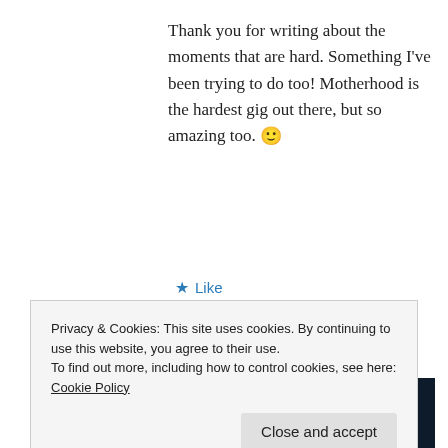Thank you for writing about the moments that are hard. Something I've been trying to do too! Motherhood is the hardest gig out there, but so amazing too. 🙂
★ Like
↪ Reply
[Figure (screenshot): Dark navy banner with bold white text 'Ask questions.']
Privacy & Cookies: This site uses cookies. By continuing to use this website, you agree to their use.
To find out more, including how to control cookies, see here: Cookie Policy
Close and accept